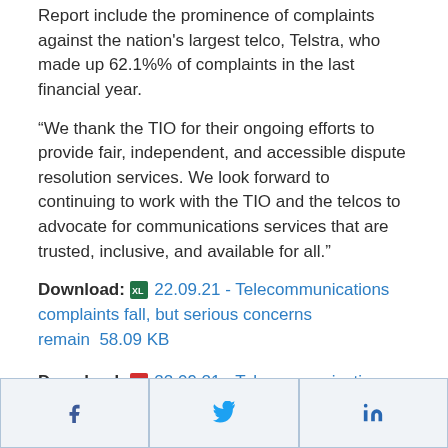Report include the prominence of complaints against the nation's largest telco, Telstra, who made up 62.1%% of complaints in the last financial year.
“We thank the TIO for their ongoing efforts to provide fair, independent, and accessible dispute resolution services. We look forward to continuing to work with the TIO and the telcos to advocate for communications services that are trusted, inclusive, and available for all.”
Download: 22.09.21 - Telecommunications complaints fall, but serious concerns remain 58.09 KB
Download: 22.09.21 - Telecommunications complaints fall, but serious concerns remain 195.94 KB
[Figure (infographic): Social sharing buttons for Facebook, Twitter, and LinkedIn]